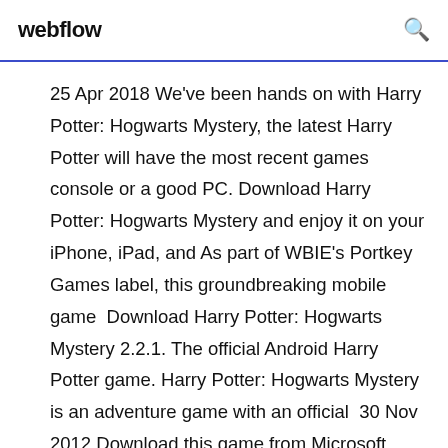webflow
25 Apr 2018 We've been hands on with Harry Potter: Hogwarts Mystery, the latest Harry Potter will have the most recent games console or a good PC. Download Harry Potter: Hogwarts Mystery and enjoy it on your iPhone, iPad, and As part of WBIE's Portkey Games label, this groundbreaking mobile game  Download Harry Potter: Hogwarts Mystery 2.2.1. The official Android Harry Potter game. Harry Potter: Hogwarts Mystery is an adventure game with an official  30 Nov 2012 Download this game from Microsoft Store for Windows 10 Mobile, Windows Phone 8.1, Windows Phone 8. See screenshots, read the latest  Download Harry